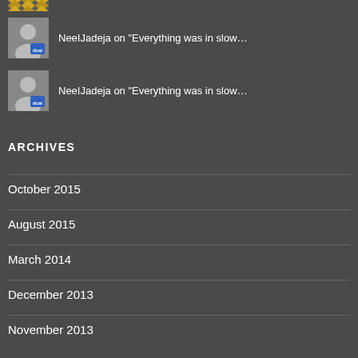[Figure (illustration): Partial avatar thumbnail at top with geometric yellow/gold pattern on dark background]
NeeIJadeja on "Everything was in slow..."
NeeIJadeja on "Everything was in slow..."
ARCHIVES
October 2015
August 2015
March 2014
December 2013
November 2013